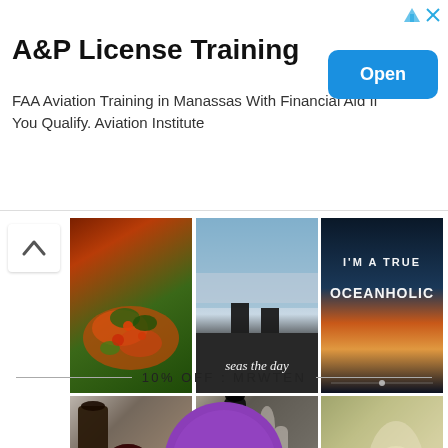[Figure (infographic): Advertisement banner for A&P License Training. FAA Aviation Training in Manassas with Financial Aid. Open button in blue.]
A&P License Training
FAA Aviation Training in Manassas With Financial Aid If You Qualify. Aviation Institute
[Figure (photo): Grid of 6 food and wine/champagne photos: bruschetta/food dish, 'seas the day' dock photo, 'I'm a true oceanholic' sunset text, red wine bottle and glass, champagne bottle with glasses, champagne glass with quote 'Champagne is like duck tape - it fixes everything']
10% OFF : MRWTEN
[Figure (logo): Purple circular logo partially visible at bottom of page]